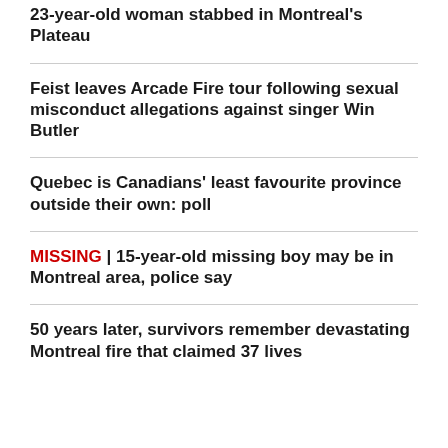23-year-old woman stabbed in Montreal's Plateau
Feist leaves Arcade Fire tour following sexual misconduct allegations against singer Win Butler
Quebec is Canadians' least favourite province outside their own: poll
MISSING | 15-year-old missing boy may be in Montreal area, police say
50 years later, survivors remember devastating Montreal fire that claimed 37 lives